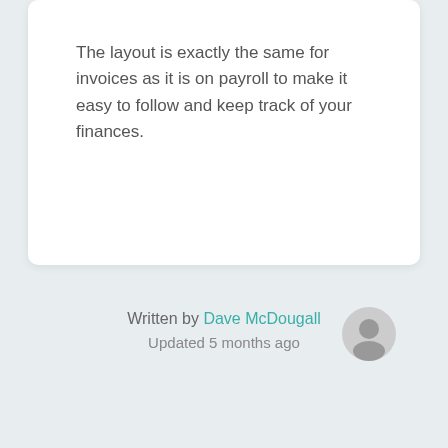The layout is exactly the same for invoices as it is on payroll to make it easy to follow and keep track of your finances.
Written by Dave McDougall
Updated 5 months ago